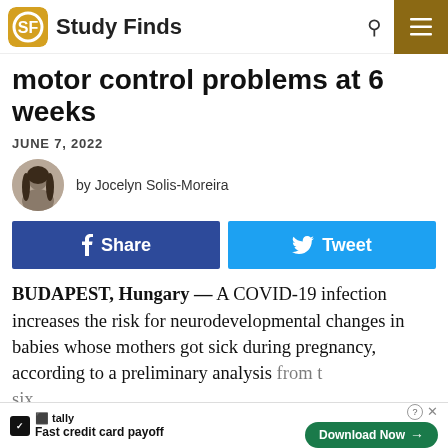Study Finds
motor control problems at 6 weeks
JUNE 7, 2022
by Jocelyn Solis-Moreira
[Figure (infographic): Facebook Share button and Twitter Tweet button]
BUDAPEST, Hungary — A COVID-19 infection increases the risk for neurodevelopmental changes in babies whose mothers got sick during pregnancy, according to a preliminary analysis from t... six weeks... lems
[Figure (infographic): Tally Fast credit card payoff advertisement banner with Download Now button]